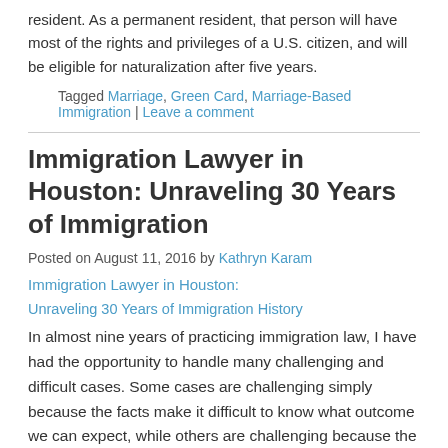resident. As a permanent resident, that person will have most of the rights and privileges of a U.S. citizen, and will be eligible for naturalization after five years.
Tagged Marriage, Green Card, Marriage-Based Immigration | Leave a comment
Immigration Lawyer in Houston: Unraveling 30 Years of Immigration
Posted on August 11, 2016 by Kathryn Karam
Immigration Lawyer in Houston:
Unraveling 30 Years of Immigration History
In almost nine years of practicing immigration law, I have had the opportunity to handle many challenging and difficult cases. Some cases are challenging simply because the facts make it difficult to know what outcome we can expect, while others are challenging because the present situations not directly addressed in our immigration laws. And then there are people who have been in the U.S. for 20 or 30 years without a resolution in their case.
Tagged Green Card, Citizenship, Immigration | Leave a comment